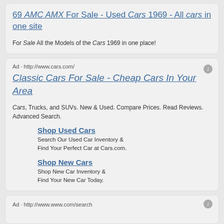69 AMC AMX For Sale - Used Cars 1969 - All cars in one site
For Sale All the Models of the Cars 1969 in one place!
Ad · http://www.cars.com/
Classic Cars For Sale - Cheap Cars In Your Area
Cars, Trucks, and SUVs. New & Used. Compare Prices. Read Reviews. Advanced Search.
Shop Used Cars
Search Our Used Car Inventory & Find Your Perfect Car at Cars.com.
Shop New Cars
Shop New Car Inventory & Find Your New Car Today.
Ad · http://www.www.com/search